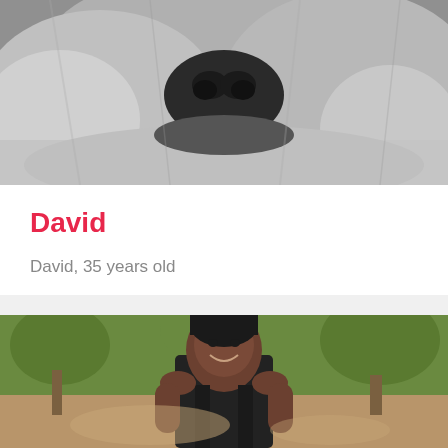[Figure (photo): Close-up photo of a koala's face from below, showing nose and grey fur]
David
David, 35 years old
Male in / near Atakpame, Plateaux, Togo
[Figure (photo): Photo of a young woman smiling, wearing a dark sleeveless top, standing outdoors on a dirt path with green trees in background]